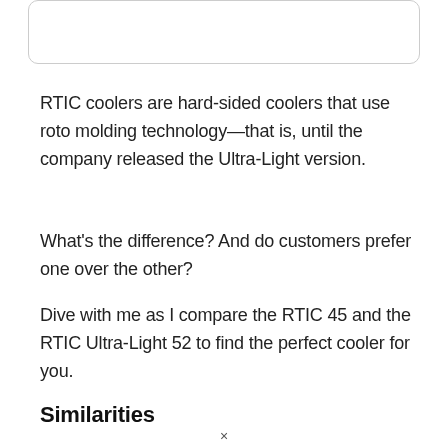RTIC coolers are hard-sided coolers that use roto molding technology—that is, until the company released the Ultra-Light version.
What's the difference? And do customers prefer one over the other?
Dive with me as I compare the RTIC 45 and the RTIC Ultra-Light 52 to find the perfect cooler for you.
Similarities